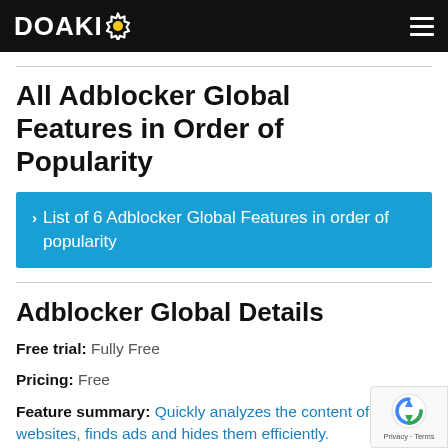DOAKIO
All Adblocker Global Features in Order of Popularity
› List of 6 Adblocker Global Features in order of popularity
Adblocker Global Details
Free trial: Fully Free
Pricing: Free
Feature summary: Quickly analyzes the content of websites, finds ads and hides them efficiently.